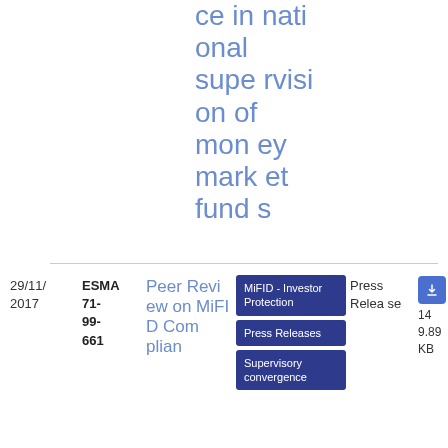ce in national supervision of money market funds
| Date | ID | Title | Tags | Type | Download |
| --- | --- | --- | --- | --- | --- |
| 29/11/2017 | ESMA 71-99-661 | Peer Review on MiFID Complian... | MiFID - Investor Protection | Press Releases | Supervisory convergence | Press Release | PDF 149.89 KB |